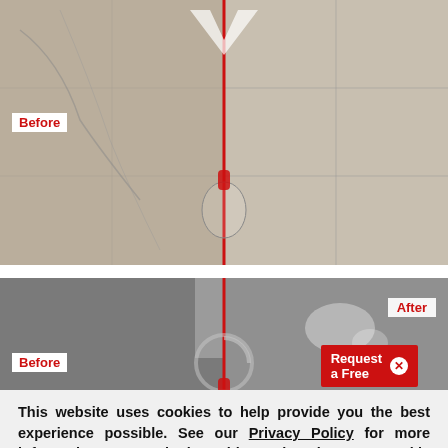[Figure (photo): Before/after comparison photo of a marble or stone floor with a red vertical dividing line and arrows. Left side shows dull/scratched surface labeled 'Before', right shows polished surface. A decorative icon (cleaner) is overlaid at center.]
[Figure (photo): Second before/after comparison photo of a stone/concrete floor with a red vertical dividing line and a circular arrow icon. Left labeled 'Before', right labeled 'After'. A 'Request a Free' popup panel partially visible.]
This website uses cookies to help provide you the best experience possible. See our Privacy Policy for more information. By continuing without changing your cookie settings within your browser, you are agreeing to our use of cookies.
ACCEPT